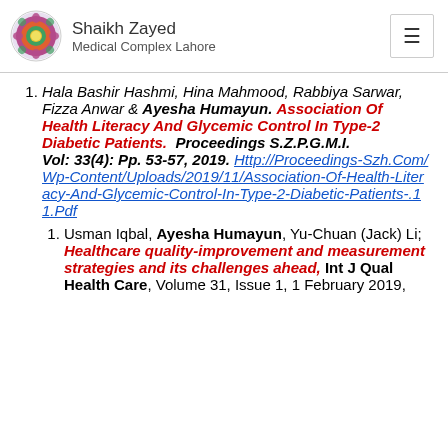Shaikh Zayed Medical Complex Lahore
Hala Bashir Hashmi, Hina Mahmood, Rabbiya Sarwar, Fizza Anwar & Ayesha Humayun. Association Of Health Literacy And Glycemic Control In Type-2 Diabetic Patients. Proceedings S.Z.P.G.M.I. Vol: 33(4): Pp. 53-57, 2019. Http://Proceedings-Szh.Com/Wp-Content/Uploads/2019/11/Association-Of-Health-Literacy-And-Glycemic-Control-In-Type-2-Diabetic-Patients-.11.Pdf
Usman Iqbal, Ayesha Humayun, Yu-Chuan (Jack) Li; Healthcare quality-improvement and measurement strategies and its challenges ahead, Int J Qual Health Care, Volume 31, Issue 1, 1 February 2019,